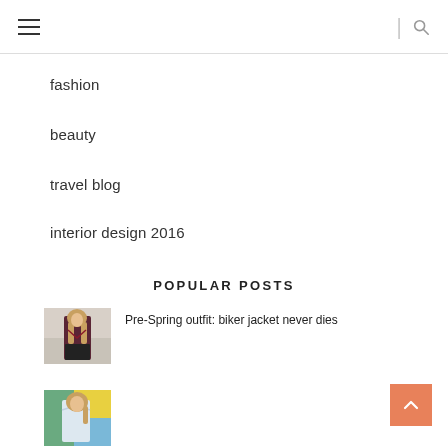Navigation menu with hamburger icon and search icon
fashion
beauty
travel blog
interior design 2016
POPULAR POSTS
Pre-Spring outfit: biker jacket never dies
[Figure (photo): Woman in dark red biker jacket with long hair, street style photo]
[Figure (photo): Woman in off-shoulder light blue top against colorful graffiti background]